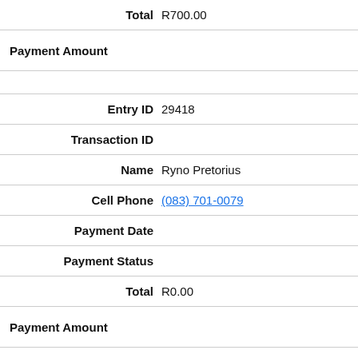| Field | Value |
| --- | --- |
| Total | R700.00 |
| Payment Amount |  |
|  |  |
| Entry ID | 29418 |
| Transaction ID |  |
| Name | Ryno Pretorius |
| Cell Phone | (083) 701-0079 |
| Payment Date |  |
| Payment Status |  |
| Total | R0.00 |
| Payment Amount |  |
|  |  |
| Entry ID | 29415 |
| Transaction ID |  |